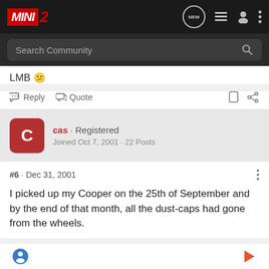MINI 2 — Navigation bar with logo and icons
Search Community
LMB 😕
Reply   Quote
cas · Registered
Joined Oct 7, 2001 · 22 Posts
#6 · Dec 31, 2001
I picked up my Cooper on the 25th of September and by the end of that month, all the dust-caps had gone from the wheels.